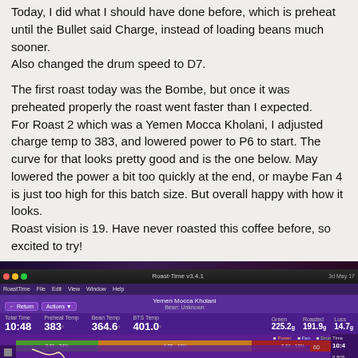Today, I did what I should have done before, which is preheat until the Bullet said Charge, instead of loading beans much sooner.
Also changed the drum speed to D7.
The first roast today was the Bombe, but once it was preheated properly the roast went faster than I expected.
For Roast 2 which was a Yemen Mocca Kholani, I adjusted charge temp to 383, and lowered power to P6 to start. The curve for that looks pretty good and is the one below. May lowered the power a bit too quickly at the end, or maybe Fan 4 is just too high for this batch size. But overall happy with how it looks.
Roast vision is 19. Have never roasted this coffee before, so excited to try!
[Figure (screenshot): Screenshot of Roast.Time software showing a Yemen Mocca Kholani roast profile. The interface has a purple/dark theme. Stats show Total Time 10:48, Preheat Temp 383, Bean Temp 364.6, BTS Temp 401.0, Green 225.2g, Roasted 191.9g, Loss 14.7g. The chart displays roast curves with a white/yellow temperature-of-rise line and a blue bean temperature curve. Phase bar shows green, orange, and red segments across the top. Right sidebar shows fan, drum, and other settings.]